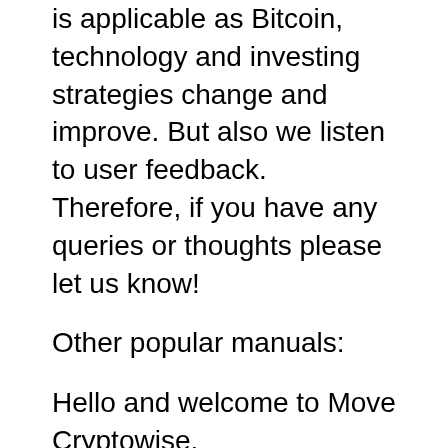is applicable as Bitcoin, technology and investing strategies change and improve. But also we listen to user feedback. Therefore, if you have any queries or thoughts please let us know!
Other popular manuals:
Hello and welcome to Move Cryptowise.
My name is Per Englund and that I 'm a longterm fan and investor and dealer of Bitcoin and other cryptocurrencies. I caught the interest of Bitcoin like several other many years back, but it was around 2016/2017 that I really got into cryptocurrencies and blockchain technology.
I have since traded, bought, researched and learnt